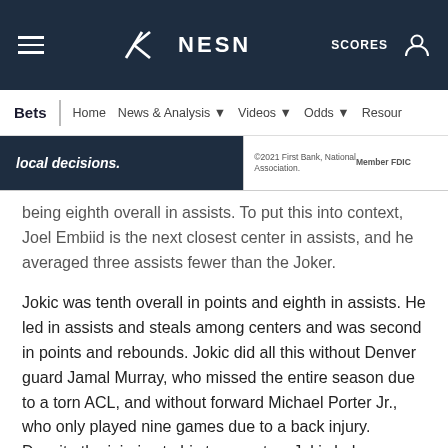NESN — SCORES
Bets | Home | News & Analysis | Videos | Odds | Resources
[Figure (screenshot): Ad banner showing 'local decisions.' text on left and '©2021 First Bank, National Association. Member FDIC' on right]
being eighth overall in assists. To put this into context, Joel Embiid is the next closest center in assists, and he averaged three assists fewer than the Joker.
Jokic was tenth overall in points and eighth in assists. He led in assists and steals among centers and was second in points and rebounds. Jokic did all this without Denver guard Jamal Murray, who missed the entire season due to a torn ACL, and without forward Michael Porter Jr., who only played nine games due to a back injury. Despite the injuries to his teammates, Jokic led